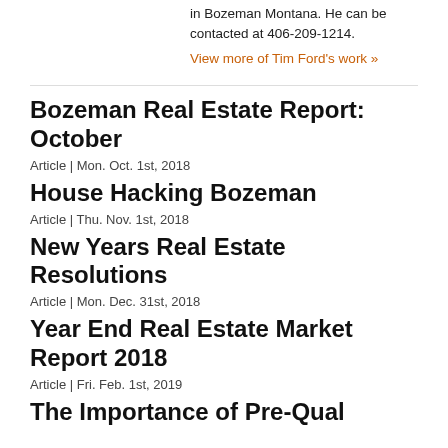in Bozeman Montana. He can be contacted at 406-209-1214.
View more of Tim Ford's work »
Bozeman Real Estate Report: October
Article | Mon. Oct. 1st, 2018
House Hacking Bozeman
Article | Thu. Nov. 1st, 2018
New Years Real Estate Resolutions
Article | Mon. Dec. 31st, 2018
Year End Real Estate Market Report 2018
Article | Fri. Feb. 1st, 2019
The Importance of Pre-Qual